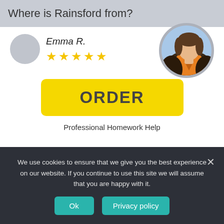Where is Rainsford from?
Emma R.
[Figure (illustration): Five gold stars rating]
[Figure (photo): Profile photo of a woman in orange top and dark patterned jacket, circular crop with grey border]
[Figure (other): Yellow ORDER button]
Professional Homework Help
We use cookies to ensure that we give you the best experience on our website. If you continue to use this site we will assume that you are happy with it.
Ok
Privacy policy